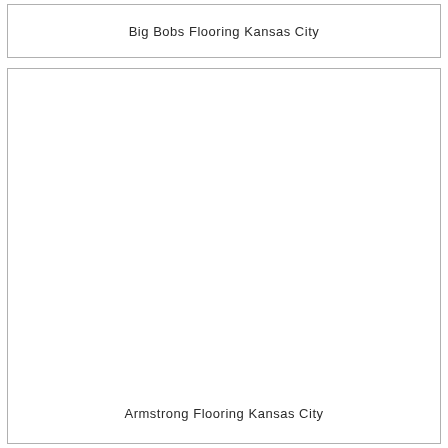Big Bobs Flooring Kansas City
[Figure (other): Large empty white box/image placeholder]
Armstrong Flooring Kansas City